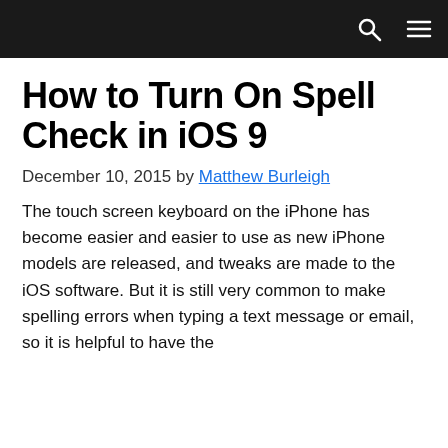How to Turn On Spell Check in iOS 9
December 10, 2015 by Matthew Burleigh
The touch screen keyboard on the iPhone has become easier and easier to use as new iPhone models are released, and tweaks are made to the iOS software. But it is still very common to make spelling errors when typing a text message or email, so it is helpful to have the